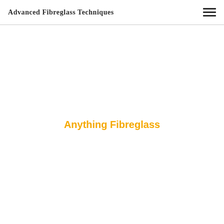Advanced Fibreglass Techniques
Anything Fibreglass